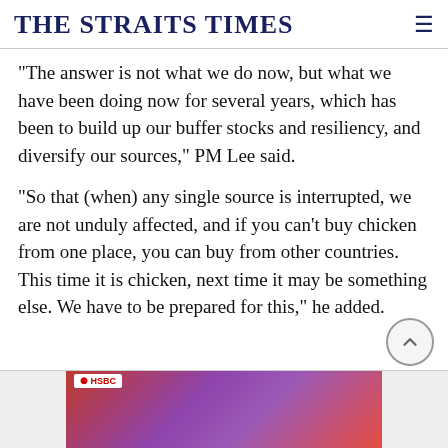THE STRAITS TIMES
"The answer is not what we do now, but what we have been doing now for several years, which has been to build up our buffer stocks and resiliency, and diversify our sources," PM Lee said.
"So that (when) any single source is interrupted, we are not unduly affected, and if you can't buy chicken from one place, you can buy from other countries. This time it is chicken, next time it may be something else. We have to be prepared for this," he added.
[Figure (photo): Advertisement banner with HSBC logo and colorful abstract background in red and purple tones]